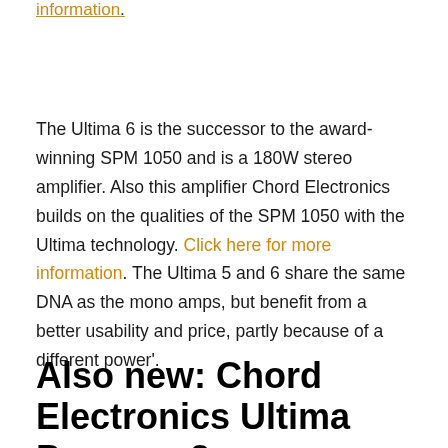information.
The Ultima 6 is the successor to the award-winning SPM 1050 and is a 180W stereo amplifier. Also this amplifier Chord Electronics builds on the qualities of the SPM 1050 with the Ultima technology. Click here for more information. The Ultima 5 and 6 share the same DNA as the mono amps, but benefit from a better usability and price, partly because of a different power'.
Also new: Chord Electronics Ultima Pre-amp 2